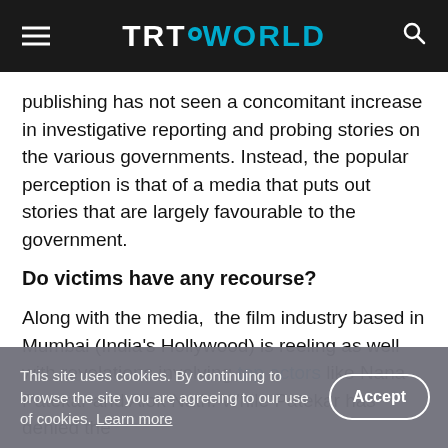TRT WORLD
publishing has not seen a concomitant increase in investigative reporting and probing stories on the various governments. Instead, the popular perception is that of a media that puts out stories that are largely favourable to the government.
Do victims have any recourse?
Along with the media,  the film industry based in Mumbai (India's Hollywood) is reeling as well with revelations involving top actors like Nana Patekar and Alok Nath. While Patekar has denied the
This site uses cookies. By continuing to browse the site you are agreeing to our use of cookies. Learn more